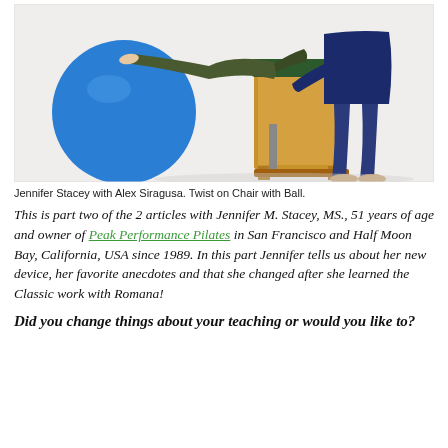[Figure (photo): Two people performing a Pilates exercise: a woman balancing with legs extended on a Pilates chair/wunda chair with a large blue exercise ball, assisted by a man behind the equipment.]
Jennifer Stacey with Alex Siragusa. Twist on Chair with Ball.
This is part two of the 2 articles with Jennifer M. Stacey, MS., 51 years of age and owner of Peak Performance Pilates in San Francisco and Half Moon Bay, California, USA since 1989. In this part Jennifer tells us about her new device, her favorite anecdotes and that she changed after she learned the Classic work with Romana!
Did you change things about your teaching or would you like to?